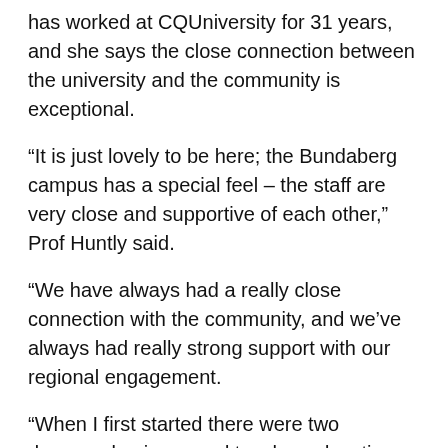has worked at CQUniversity for 31 years, and she says the close connection between the university and the community is exceptional.
“It is just lovely to be here; the Bundaberg campus has a special feel – the staff are very close and supportive of each other,” Prof Huntly said.
“We have always had a really close connection with the community, and we’ve always had really strong support with our regional engagement.
“When I first started there were two degrees, business and teacher education. From that it has grown to 30 courses with allied health, physiotherapy and engineering.
“In the early days we would never have thought we would have enough students for, or the funding or support to do